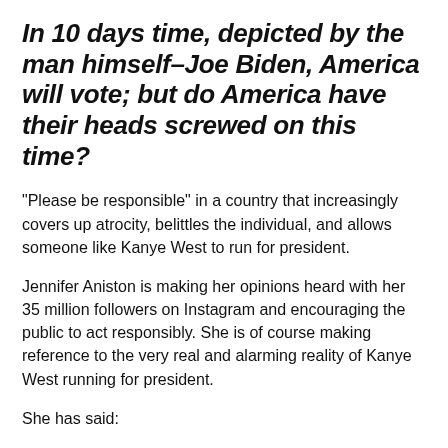In 10 days time, depicted by the man himself–Joe Biden, America will vote; but do America have their heads screwed on this time?
“Please be responsible” in a country that increasingly covers up atrocity, belittles the individual, and allows someone like Kanye West to run for president.
Jennifer Aniston is making her opinions heard with her 35 million followers on Instagram and encouraging the public to act responsibly. She is of course making reference to the very real and alarming reality of Kanye West running for president.
She has said: